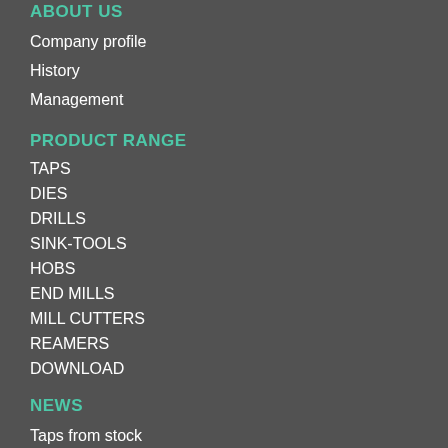ABOUT US
Company profile
History
Management
PRODUCT RANGE
TAPS
DIES
DRILLS
SINK-TOOLS
HOBS
END MILLS
MILL CUTTERS
REAMERS
DOWNLOAD
NEWS
Taps from stock